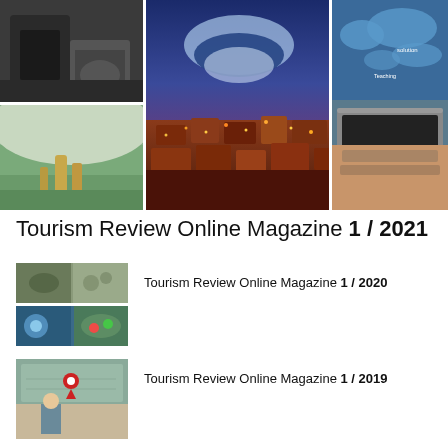[Figure (photo): Collage of six travel/tourism photos: person in vehicle, aerial city at night, world map with laptop, mountain river valley, close-up night city rooftops, hand typing on laptop with world map overlay]
Tourism Review Online Magazine 1 / 2021
[Figure (photo): Two stacked thumbnail images for Tourism Review Online Magazine 1/2020 archive entry]
Tourism Review Online Magazine 1 / 2020
[Figure (photo): Thumbnail image for Tourism Review Online Magazine 1/2019 archive entry showing map and person]
Tourism Review Online Magazine 1 / 2019